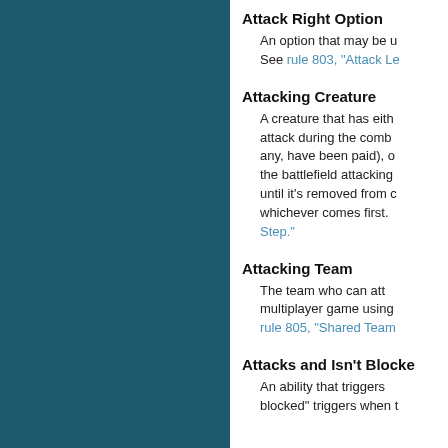Attack Right Option
An option that may be used. See rule 803, "Attack Le...
Attacking Creature
A creature that has either attack during the combat any, have been paid), or the battlefield attacking until it's removed from c whichever comes first. Step."
Attacking Team
The team who can att... multiplayer game using... rule 805, "Shared Team...
Attacks and Isn't Blocked...
An ability that triggers ... blocked" triggers when t...